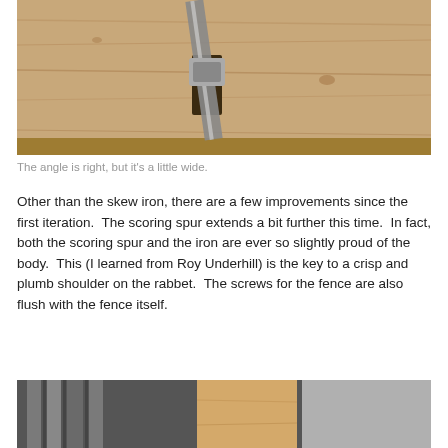[Figure (photo): Top-down view of a woodworking tool (skew iron/plane) on a wood surface, showing the blade inserted into a slot in light-colored wood.]
The angle is right, but it's a little wide.
Other than the skew iron, there are a few improvements since the first iteration.  The scoring spur extends a bit further this time.  In fact, both the scoring spur and the iron are ever so slightly proud of the body.  This (I learned from Roy Underhill) is the key to a crisp and plumb shoulder on the rabbet.  The screws for the fence are also flush with the fence itself.
[Figure (photo): Close-up photo of woodworking tools including what appears to be chisels or plane irons arranged together, partially visible at the bottom of the page.]